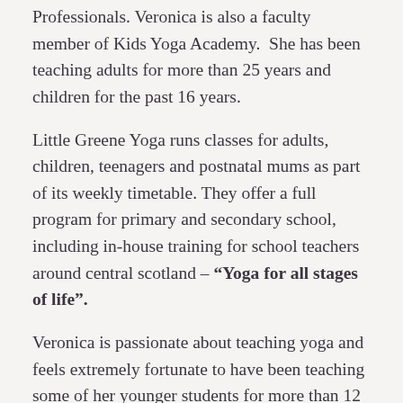Professionals. Veronica is also a faculty member of Kids Yoga Academy.  She has been teaching adults for more than 25 years and children for the past 16 years.
Little Greene Yoga runs classes for adults, children, teenagers and postnatal mums as part of its weekly timetable. They offer a full program for primary and secondary school, including in-house training for school teachers around central scotland – "Yoga for all stages of life".
Veronica is passionate about teaching yoga and feels extremely fortunate to have been teaching some of her younger students for more than 12 years.  As the children have evolved both mentally and physically so has the “Little Greene Yoga” syllabus which combines her classical yoga training with fun techniques aimed at stimulating each specific age group. She believes that children can be taught the connection between body and mind, gain valuable life tools and respect for